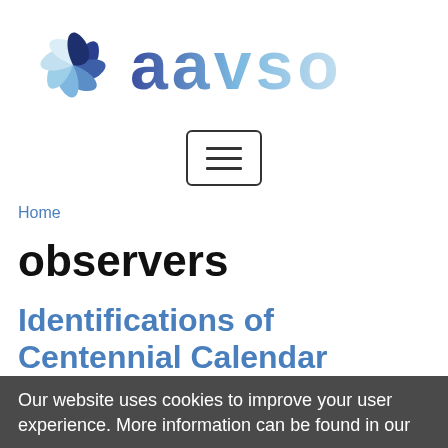[Figure (logo): AAVSO logo: swirling blue/navy spiral graphic on the left, followed by the text 'aavso' in large gradient letters from dark navy to light blue]
[Figure (other): Hamburger menu button: a rounded rectangle border containing three horizontal lines]
Home
observers
Identifications of Centennial Calendar Images, October 2011
Our website uses cookies to improve your user experience. More information can be found in our